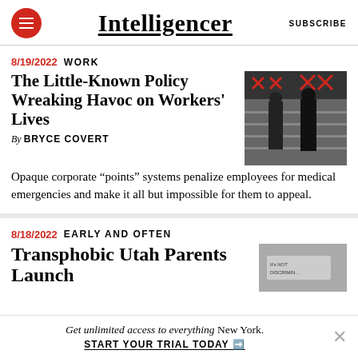Intelligencer | SUBSCRIBE
8/19/2022 WORK
The Little-Known Policy Wreaking Havoc on Workers' Lives
By BRYCE COVERT
Opaque corporate “points” systems penalize employees for medical emergencies and make it all but impossible for them to appeal.
[Figure (photo): Black and white photo of people in a retail store with red X marks overlaid]
8/18/2022 EARLY AND OFTEN
Transphobic Utah Parents Launch
[Figure (photo): Partial photo, appears to show a sign reading It's Not Discrimination]
Get unlimited access to everything New York. START YOUR TRIAL TODAY ➡️